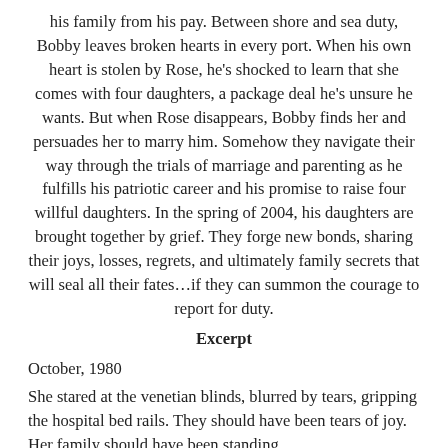his family from his pay. Between shore and sea duty, Bobby leaves broken hearts in every port. When his own heart is stolen by Rose, he's shocked to learn that she comes with four daughters, a package deal he's unsure he wants. But when Rose disappears, Bobby finds her and persuades her to marry him. Somehow they navigate their way through the trials of marriage and parenting as he fulfills his patriotic career and his promise to raise four willful daughters. In the spring of 2004, his daughters are brought together by grief. They forge new bonds, sharing their joys, losses, regrets, and ultimately family secrets that will seal all their fates…if they can summon the courage to report for duty.
Excerpt
October, 1980
She stared at the venetian blinds, blurred by tears, gripping the hospital bed rails. They should have been tears of joy. Her family should have been standing